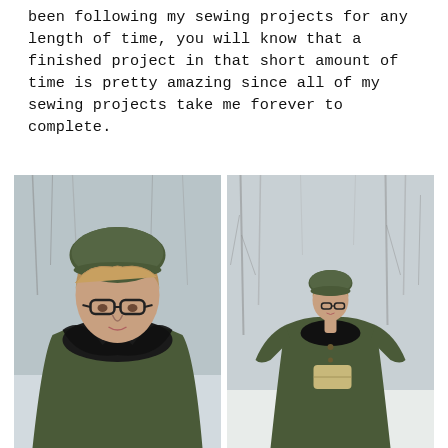been following my sewing projects for any length of time, you will know that a finished project in that short amount of time is pretty amazing since all of my sewing projects take me forever to complete.
[Figure (photo): Two side-by-side outdoor winter photos of a woman wearing a green wool cape with black fur collar and a green beret. Left photo is a close-up portrait showing her face with glasses and the fur collar detail. Right photo is a full-length shot showing the cape's full silhouette against a snowy background with bare trees.]